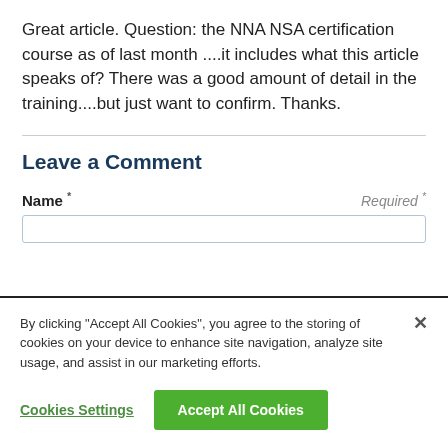Great article. Question: the NNA NSA certification course as of last month ....it includes what this article speaks of? There was a good amount of detail in the training....but just want to confirm. Thanks.
Leave a Comment
Name * Required *
By clicking "Accept All Cookies", you agree to the storing of cookies on your device to enhance site navigation, analyze site usage, and assist in our marketing efforts.
Cookies Settings
Accept All Cookies